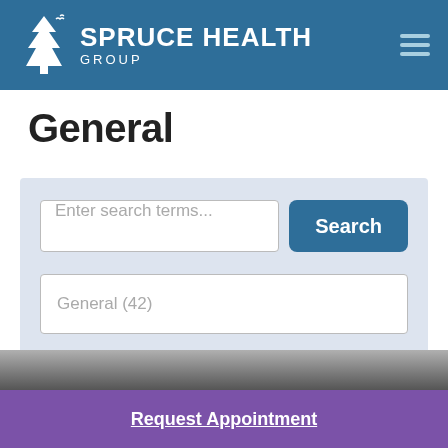[Figure (logo): Spruce Health Group logo with white tree/cross icon on blue header background]
General
Enter search terms...
Search
General (42)
Request Appointment